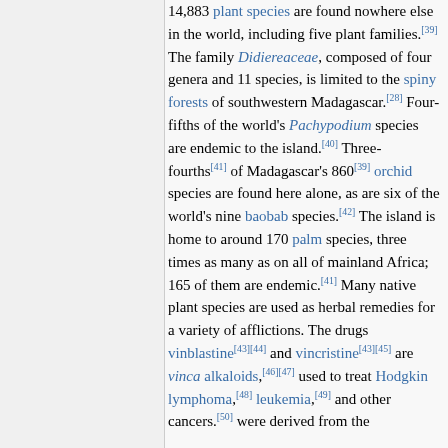14,883 plant species are found nowhere else in the world, including five plant families.[39] The family Didiereaceae, composed of four genera and 11 species, is limited to the spiny forests of southwestern Madagascar.[28] Four-fifths of the world's Pachypodium species are endemic to the island.[40] Three-fourths[41] of Madagascar's 860[39] orchid species are found here alone, as are six of the world's nine baobab species.[42] The island is home to around 170 palm species, three times as many as on all of mainland Africa; 165 of them are endemic.[41] Many native plant species are used as herbal remedies for a variety of afflictions. The drugs vinblastine[43][44] and vincristine[43][45] are vinca alkaloids,[46][47] used to treat Hodgkin lymphoma,[48] leukemia,[49] and other cancers.[50] were derived from the